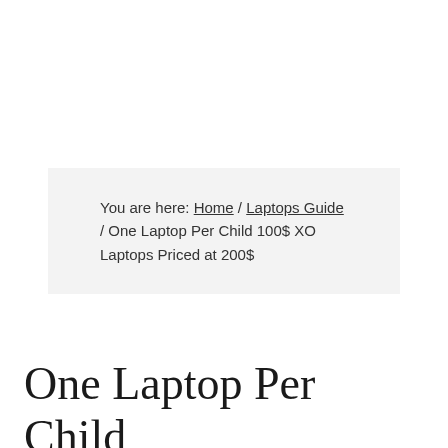You are here: Home / Laptops Guide / One Laptop Per Child 100$ XO Laptops Priced at 200$
One Laptop Per Child 100$ XO Laptops Priced